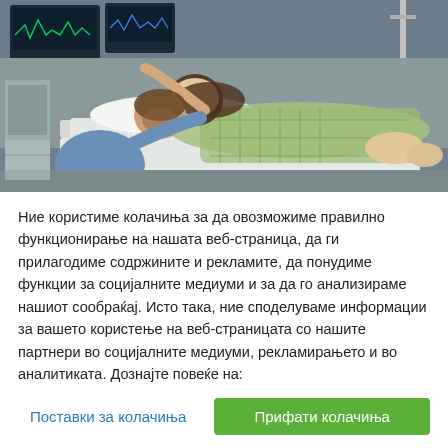[Figure (photo): A man and woman in a hospital room. The woman in a green patterned hospital gown is lying on a hospital bed, and the man in a blue shirt is leaning against her. Medical monitoring equipment is visible in the background.]
Ние користиме колачиња за да овозможиме правилно функционирање на нашата веб-страница, да ги прилагодиме содржините и рекламите, да понудиме функции за социјалните медиуми и за да го анализираме нашиот сообраќај. Исто така, ние споделуваме информации за вашето користење на веб-страницата со нашите партнери во социјалните медиуми, рекламирањето и во аналитиката. Дознајте повеќе на:
Поставки за колачиња
Прифати колачиња